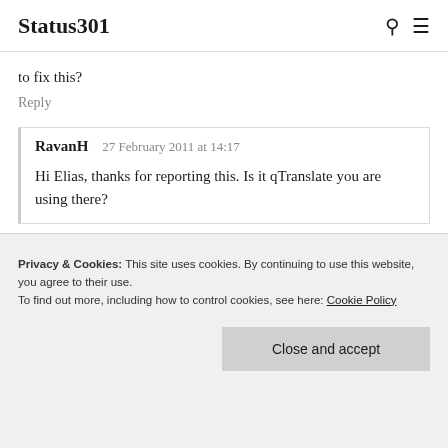Status301
to fix this?
Reply
RavanH   27 February 2011 at 14:17
Hi Elias, thanks for reporting this. Is it qTranslate you are using there?
Privacy & Cookies: This site uses cookies. By continuing to use this website, you agree to their use.
To find out more, including how to control cookies, see here: Cookie Policy
Close and accept